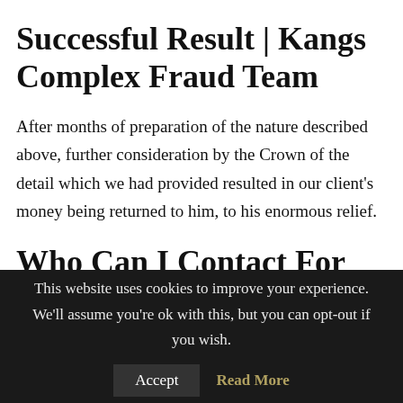Successful Result | Kangs Complex Fraud Team
After months of preparation of the nature described above, further consideration by the Crown of the detail which we had provided resulted in our client's money being returned to him, to his enormous relief.
Who Can I Contact For Help? | Kangs Cash Seizure
This website uses cookies to improve your experience. We'll assume you're ok with this, but you can opt-out if you wish.